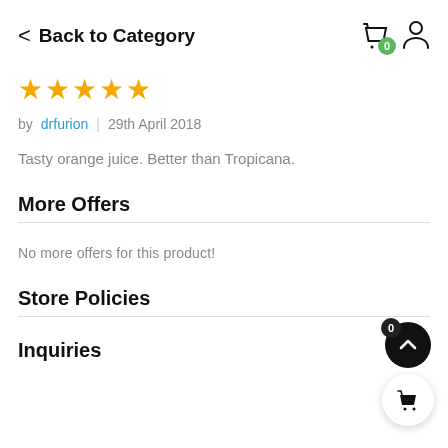< Back to Category
[Figure (illustration): Five gold star rating icons]
by drfurion | 29th April 2018
Tasty orange juice. Better than Tropicana.
More Offers
No more offers for this product!
Store Policies
Inquiries